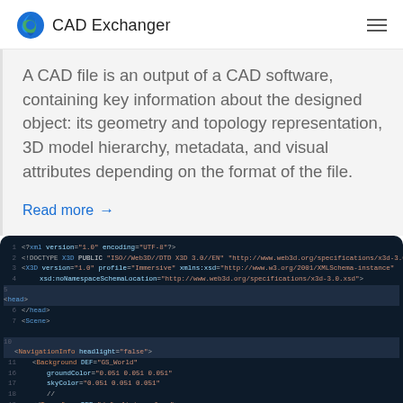CAD Exchanger
A CAD file is an output of a CAD software, containing key information about the designed object: its geometry and topology representation, 3D model hierarchy, metadata, and visual attributes depending on the format of the file.
Read more →
[Figure (screenshot): Screenshot of XML/VRML code in a dark-themed code editor showing CAD file structure with highlighted lines and syntax coloring]